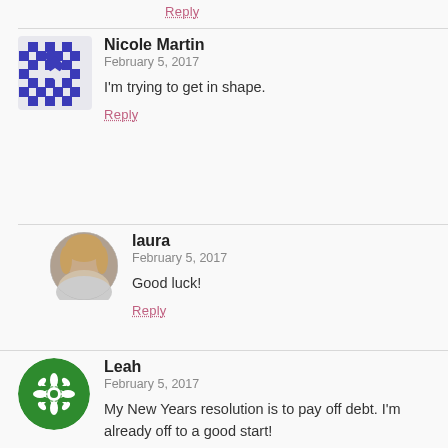Reply
Nicole Martin
February 5, 2017
I'm trying to get in shape.
Reply
laura
February 5, 2017
Good luck!
Reply
Leah
February 5, 2017
My New Years resolution is to pay off debt. I'm already off to a good start!
Reply